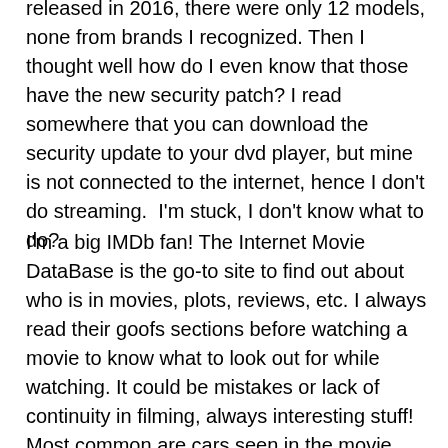released in 2016, there were only 12 models, none from brands I recognized. Then I thought well how do I even know that those have the new security patch? I read somewhere that you can download the security update to your dvd player, but mine is not connected to the internet, hence I don't do streaming.  I'm stuck, I don't know what to do?
I'm a big IMDb fan! The Internet Movie DataBase is the go-to site to find out about who is in movies, plots, reviews, etc. I always read their goofs sections before watching a movie to know what to look out for while watching. It could be mistakes or lack of continuity in filming, always interesting stuff! Most common are cars seen in the movie were not available during the time period the movie was in. Also on the movie pages is a message board where people ask questions about the